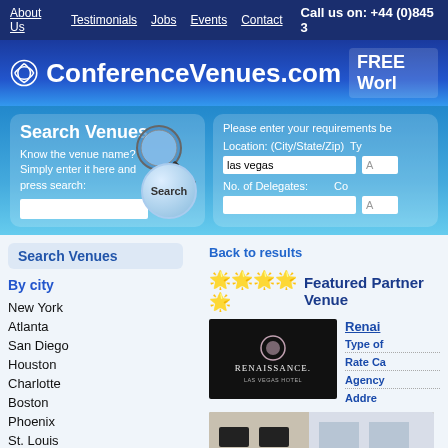About Us  Testimonials  Jobs  Events  Contact  Call us on: +44 (0)845 3
ConferenceVenues.com  FREE Worl
[Figure (screenshot): Search Venues panel with magnifying glass icon, text field, and Search button]
Please enter your requirements be
Location: (City/State/Zip)
las vegas
No. of Delegates:
Search Venues
Back to results
By city
New York
Atlanta
San Diego
Houston
Charlotte
Boston
Phoenix
St. Louis
★★★★★ Featured Partner Venue
[Figure (photo): Renaissance Las Vegas Hotel logo on dark background]
Renai...
Type of...
Rate Ca...
Agency...
Addre...
[Figure (photo): Hotel interior or exterior photo showing screens/displays and windows]